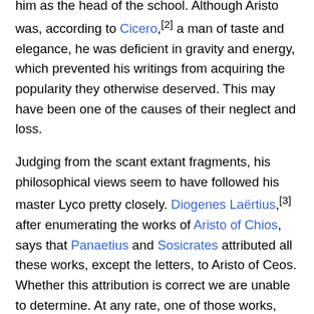him as the head of the school. Although Aristo was, according to Cicero,[2] a man of taste and elegance, he was deficient in gravity and energy, which prevented his writings from acquiring the popularity they otherwise deserved. This may have been one of the causes of their neglect and loss.
Judging from the scant extant fragments, his philosophical views seem to have followed his master Lyco pretty closely. Diogenes Laërtius,[3] after enumerating the works of Aristo of Chios, says that Panaetius and Sosicrates attributed all these works, except the letters, to Aristo of Ceos. Whether this attribution is correct we are unable to determine. At any rate, one of those works, Conversations on Love, is repeatedly ascribed to Aristo of Ceos by Athenaeus.[4] One work of Aristo not mentioned by Diogenes Laërtius was entitled Lyco[5] in gratitude to his master. There are also two epigrams in the Greek